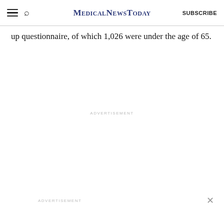MedicalNewsToday  SUBSCRIBE
up questionnaire, of which 1,026 were under the age of 65.
ADVERTISEMENT
ADVERTISEMENT